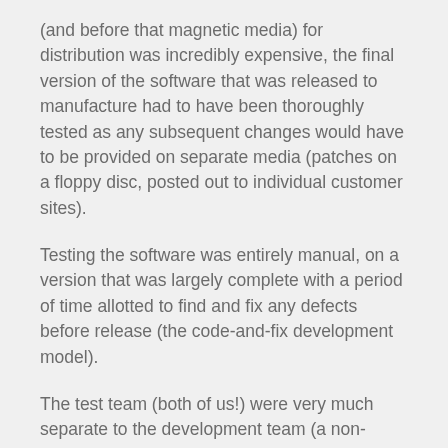(and before that magnetic media) for distribution was incredibly expensive, the final version of the software that was released to manufacture had to have been thoroughly tested as any subsequent changes would have to be provided on separate media (patches on a floppy disc, posted out to individual customer sites).
Testing the software was entirely manual, on a version that was largely complete with a period of time allotted to find and fix any defects before release (the code-and-fix development model).
The test team (both of us!) were very much separate to the development team (a non-integrated test team) and only voiced our opinions on the software after it had been built, whilst we were testing the new version.
Testing took a great deal of time while defects were being found, fixed, and the software rebuilt and retested.